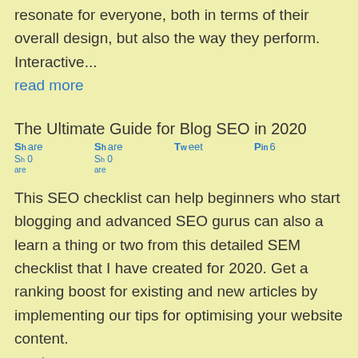resonate for everyone, both in terms of their overall design, but also the way they perform. Interactive...
read more
The Ultimate Guide for Blog SEO in 2020
Share  Share  Tweet  Pin 6  Sh 0 are  Sh 0 are
This SEO checklist can help beginners who start blogging and advanced SEO gurus can also a learn a thing or two from this detailed SEM checklist that I have created for 2020. Get a ranking boost for existing and new articles by implementing our tips for optimising your website content.
read more